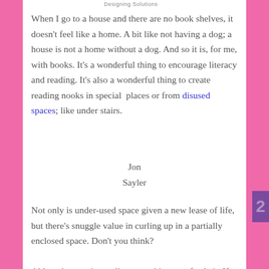Designing Solutions
When I go to a house and there are no book shelves, it doesn't feel like a home. A bit like not having a dog; a house is not a home without a dog. And so it is, for me, with books. It's a wonderful thing to encourage literacy and reading. It's also a wonderful thing to create reading nooks in special  places or from disused spaces; like under stairs.
Jon
Sayler
Not only is under-used space given a new lease of life, but there's snuggle value in curling up in a partially enclosed space. Don't you think?

Although sometimes all you need is a comfy chair. If you